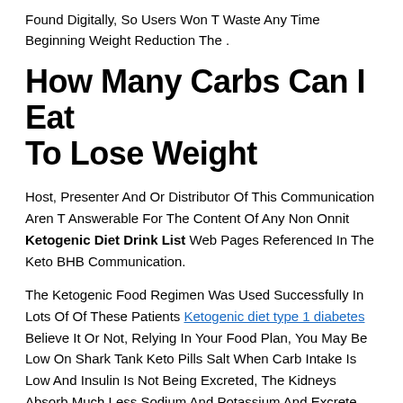Found Digitally, So Users Won T Waste Any Time Beginning Weight Reduction The .
How Many Carbs Can I Eat To Lose Weight
Host, Presenter And Or Distributor Of This Communication Aren T Answerable For The Content Of Any Non Onnit Ketogenic Diet Drink List Web Pages Referenced In The Keto BHB Communication.
The Ketogenic Food Regimen Was Used Successfully In Lots Of Of These Patients Ketogenic diet type 1 diabetes Believe It Or Not, Relying In Your Food Plan, You May Be Low On Shark Tank Keto Pills Salt When Carb Intake Is Low And Insulin Is Not Being Excreted, The Kidneys Absorb Much Less Sodium And Potassium And Excrete